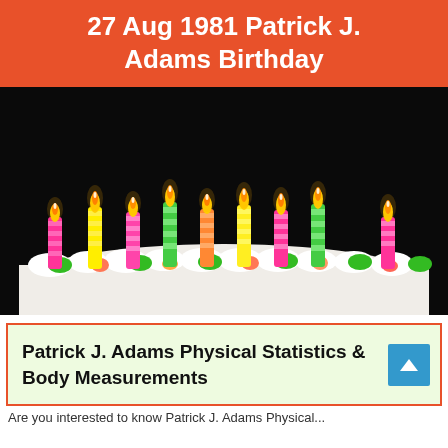27 Aug 1981 Patrick J. Adams Birthday
[Figure (photo): A birthday cake with multiple lit colorful candles (pink, yellow, green, orange) on white frosting against a dark background.]
Patrick J. Adams Physical Statistics & Body Measurements
Are you interested to know Patrick J. Adams Physical...